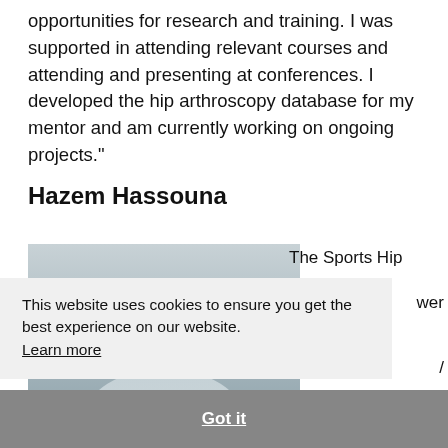opportunities for research and training. I was supported in attending relevant courses and attending and presenting at conferences. I developed the hip arthroscopy database for my mentor and am currently working on ongoing projects."
Hazem Hassouna
[Figure (photo): Partial photo of a person, partially obscured by cookie consent overlay]
The Sports Hip
wer
/
c Fellowship,
This website uses cookies to ensure you get the best experience on our website. Learn more
Got it